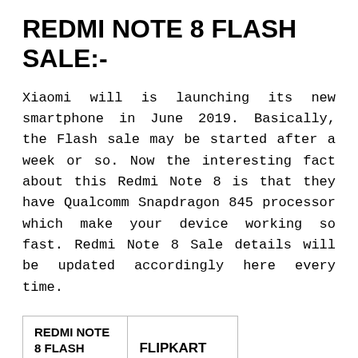REDMI NOTE 8 FLASH SALE:-
Xiaomi will is launching its new smartphone in June 2019. Basically, the Flash sale may be started after a week or so. Now the interesting fact about this Redmi Note 8 is that they have Qualcomm Snapdragon 845 processor which make your device working so fast. Redmi Note 8 Sale details will be updated accordingly here every time.
| REDMI NOTE 8 FLASH SALE | FLIPKART |